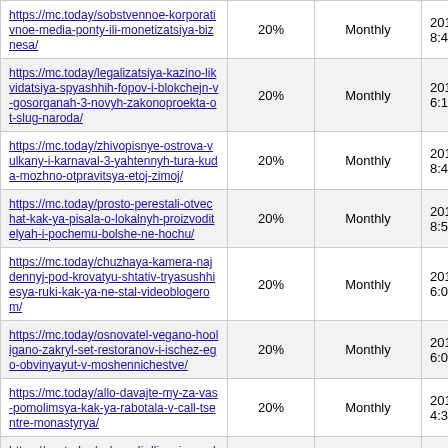| https://mc.today/sobstvennoe-korporativnoe-media-ponty-ili-monetizatsiya-biznesa/ | 20% | Monthly | 2019-10-24 08:41 |
| https://mc.today/legalizatsiya-kazino-likvidatsiya-spyashhih-fopov-i-blokchejn-v-gosorganah-3-novyh-zakonoproekta-ot-slug-naroda/ | 20% | Monthly | 2019-10-23 16:12 |
| https://mc.today/zhivopisnye-ostrova-vulkany-i-karnaval-3-yahtennyh-tura-kuda-mozhno-otpravitsya-etoj-zimoj/ | 20% | Monthly | 2019-10-29 18:46 |
| https://mc.today/prosto-perestali-otvechat-kak-ya-pisala-o-lokalnyh-proizvitelyah-i-pochemu-bolshe-ne-hochu/ | 20% | Monthly | 2019-10-24 08:55 |
| https://mc.today/chuzhaya-kamera-najdennyj-pod-krovatyu-shtativ-tryasushhiesya-ruki-kak-ya-ne-stal-videoblogerom/ | 20% | Monthly | 2019-11-26 16:04 |
| https://mc.today/osnovatel-vegano-hooligano-zakryl-set-restoranov-i-ischez-ego-obvinyayut-v-moshennichestve/ | 20% | Monthly | 2019-10-23 16:04 |
| https://mc.today/allo-davajte-my-za-vas-pomolimsya-kak-ya-rabotala-v-call-tsentre-monastyrya/ | 20% | Monthly | 2019-10-22 14:31 |
| https://mc.today/ocheredi-dlinnoj-v-nedeli-slozhnosti-s-podderzhkoj- | 20% | Monthly | 2019-10-23 |